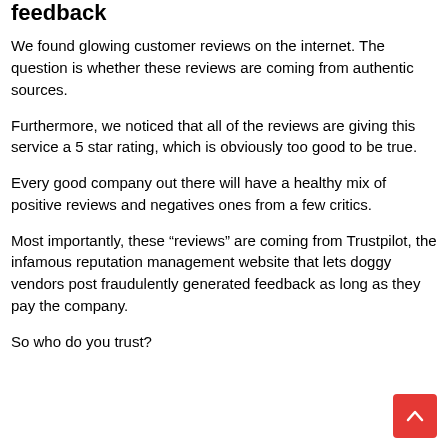feedback
We found glowing customer reviews on the internet. The question is whether these reviews are coming from authentic sources.
Furthermore, we noticed that all of the reviews are giving this service a 5 star rating, which is obviously too good to be true.
Every good company out there will have a healthy mix of positive reviews and negatives ones from a few critics.
Most importantly, these “reviews” are coming from Trustpilot, the infamous reputation management website that lets doggy vendors post fraudulently generated feedback as long as they pay the company.
So who do you trust?